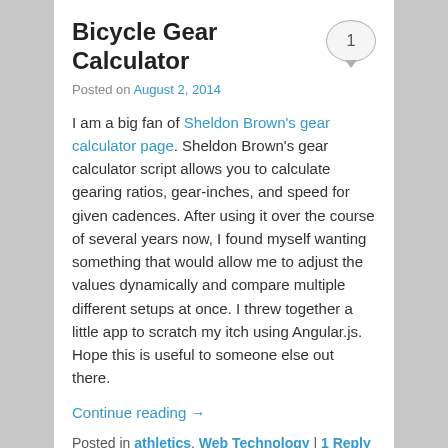Bicycle Gear Calculator
Posted on August 2, 2014
I am a big fan of Sheldon Brown's gear calculator page. Sheldon Brown's gear calculator script allows you to calculate gearing ratios, gear-inches, and speed for given cadences. After using it over the course of several years now, I found myself wanting something that would allow me to adjust the values dynamically and compare multiple different setups at once. I threw together a little app to scratch my itch using Angular.js. Hope this is useful to someone else out there.
Continue reading →
Posted in athletics, Web Technology | 1 Reply
Shoe screws for running